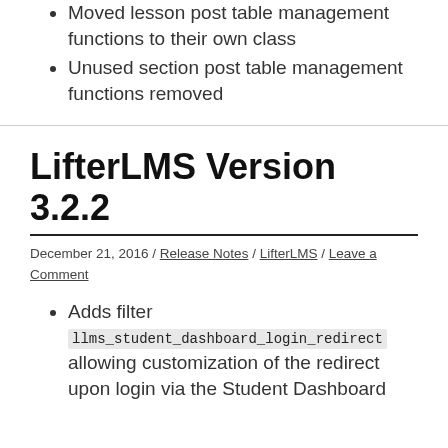Moved lesson post table management functions to their own class
Unused section post table management functions removed
LifterLMS Version 3.2.2
December 21, 2016 / Release Notes / LifterLMS / Leave a Comment
Adds filter llms_student_dashboard_login_redirect allowing customization of the redirect upon login via the Student Dashboard